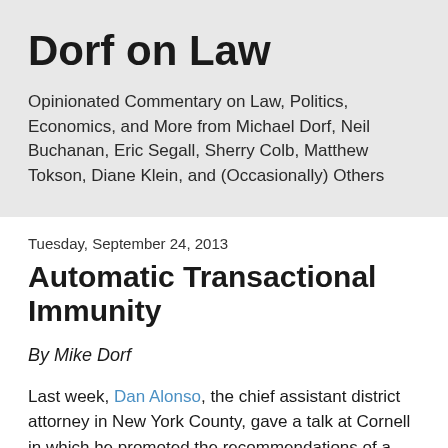Dorf on Law
Opinionated Commentary on Law, Politics, Economics, and More from Michael Dorf, Neil Buchanan, Eric Segall, Sherry Colb, Matthew Tokson, Diane Klein, and (Occasionally) Others
Tuesday, September 24, 2013
Automatic Transactional Immunity
By Mike Dorf
Last week, Dan Alonso, the chief assistant district attorney in New York County, gave a talk at Cornell in which he promoted the recommendations of a task force (described here) that looked into reforming state laws governing the prosecution of white collar crime.  Although he embargoed full disclosure of those recommendations, today (and possibly already by the time this post runs), Alonso's boss,